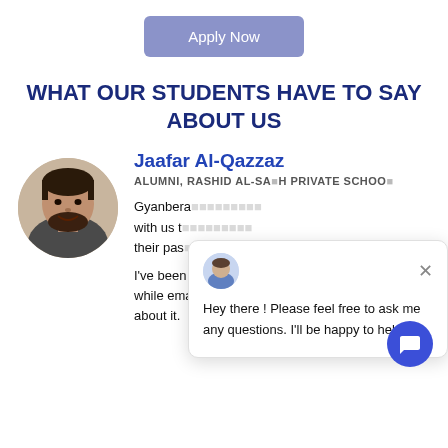[Figure (other): Apply Now button - light purple/lavender rounded rectangle button]
WHAT OUR STUDENTS HAVE TO SAY ABOUT US
[Figure (photo): Circular avatar photo of Jaafar Al-Qazzaz, a young man with dark hair and beard, smiling]
Jaafar Al-Qazzaz
ALUMNI, RASHID AL-SALEH PRIVATE SCHOOL
Gyanbera ... with us t... their pas...
I've been in contact with them while called, while emailed, and they were very n... about it.
[Figure (screenshot): Chat popup widget with avatar, close button, and message: Hey there ! Please feel free to ask me any questions. I'll be happy to help :). Blue FAB chat button in bottom right.]